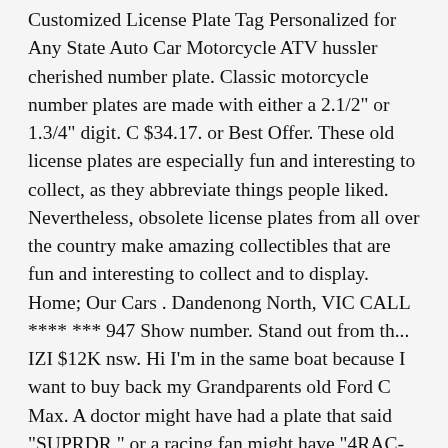Customized License Plate Tag Personalized for Any State Auto Car Motorcycle ATV hussler cherished number plate. Classic motorcycle number plates are made with either a 2.1/2" or 1.3/4" digit. C $34.17. or Best Offer. These old license plates are especially fun and interesting to collect, as they abbreviate things people liked. Nevertheless, obsolete license plates from all over the country make amazing collectibles that are fun and interesting to collect and to display. Home; Our Cars . Dandenong North, VIC CALL **** *** 947 Show number. Stand out from th... IZI $12K nsw. Hi I'm in the same boat because I want to buy back my Grandparents old Ford C Max. A doctor might have had a plate that said "SUPRDR," or a racing fan might have "4RAC-ING." FPV UTE prestige number plates, never been on a vehicle, they are brand new even though they are over 14 years old. On cars first registered before 1963 (or 1965 in some cases), number plates look like this. You will receive the actual plate pictured. Some members might not see this as ideal but an old number such as BX4846 still looks better on an old car than a very recent one that you might see on